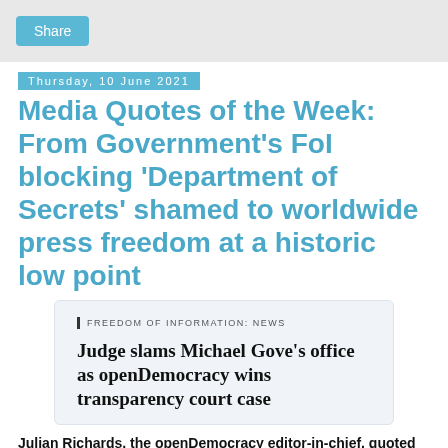Share
Thursday, 10 June 2021
Media Quotes of the Week: From Government's FoI blocking 'Department of Secrets' shamed to worldwide press freedom at a historic low point
[Figure (screenshot): Article card screenshot showing: FREEDOM OF INFORMATION: NEWS — Judge slams Michael Gove's office as openDemocracy wins transparency court case]
Julian Richards, the openDemocracy editor-in-chief, quoted by the Guardian after openDemocracy won a legal victory against the UK government which forces